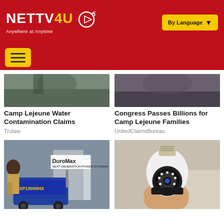[Figure (logo): NETTV4U logo with tagline 'Anywhere at Anytime' on red header bar]
[Figure (screenshot): By Language dropdown button in yellow on red header]
[Figure (photo): Partial image - Camp Lejeune Water Contamination Claims thumbnail]
Camp Lejeune Water Contamination Claims
Trulaw
[Figure (photo): Partial image - Congress Passes Billions for Camp Lejeune Families thumbnail]
Congress Passes Billions for Camp Lejeune Families
UnitedClaimsBureau
[Figure (photo): DuroMax generator XP13000HX being operated by person outdoors]
[Figure (photo): Hand holding a light bulb shaped security camera]